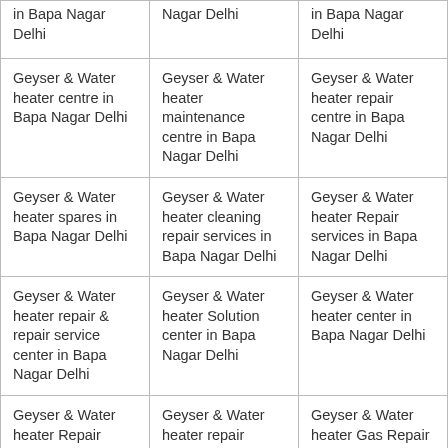| in Bapa Nagar Delhi | Nagar Delhi | in Bapa Nagar Delhi |
| Geyser & Water heater centre in Bapa Nagar Delhi | Geyser & Water heater maintenance centre in Bapa Nagar Delhi | Geyser & Water heater repair centre in Bapa Nagar Delhi |
| Geyser & Water heater spares in Bapa Nagar Delhi | Geyser & Water heater cleaning repair services in Bapa Nagar Delhi | Geyser & Water heater Repair services in Bapa Nagar Delhi |
| Geyser & Water heater repair & repair service center in Bapa Nagar Delhi | Geyser & Water heater Solution center in Bapa Nagar Delhi | Geyser & Water heater center in Bapa Nagar Delhi |
| Geyser & Water heater Repair service repairing in Bapa Nagar Delhi | Geyser & Water heater repair service centre in Bapa Nagar Delhi | Geyser & Water heater Gas Repair service center in Bapa Nagar Delhi |